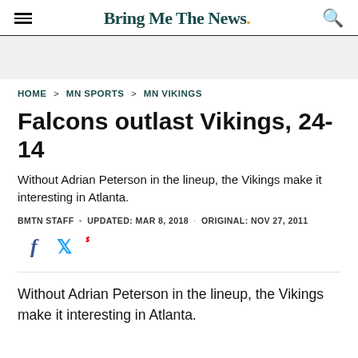Bring Me The News.
HOME > MN SPORTS > MN VIKINGS
Falcons outlast Vikings, 24-14
Without Adrian Peterson in the lineup, the Vikings make it interesting in Atlanta.
BMTN STAFF • UPDATED: MAR 8, 2018 · ORIGINAL: NOV 27, 2011
[Figure (other): Social sharing icons: Facebook (f), Twitter (bird), Pinterest (p)]
Without Adrian Peterson in the lineup, the Vikings make it interesting in Atlanta.